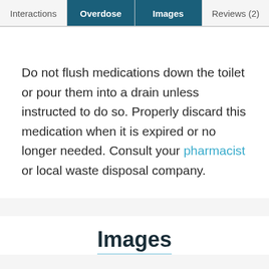Interactions | Overdose | Images | Reviews (2)
Do not flush medications down the toilet or pour them into a drain unless instructed to do so. Properly discard this medication when it is expired or no longer needed. Consult your pharmacist or local waste disposal company.
Images